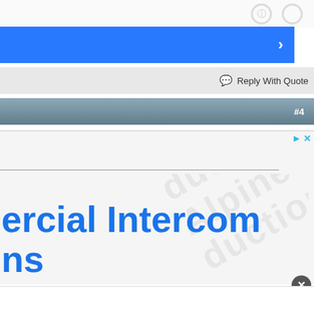[Figure (screenshot): Top watermark/icon area with faint circles]
[Figure (screenshot): Blue navigation bar with right-pointing chevron arrow]
Reply With Quote
#4
[Figure (screenshot): Advertisement area showing partial text 'ercial Intercom' and 'ns' in large blue bold font, with faint watermark background text, ad controls (triangle play and X icons), a horizontal rule, and a close button (circled X)]
ercial Intercom
ns